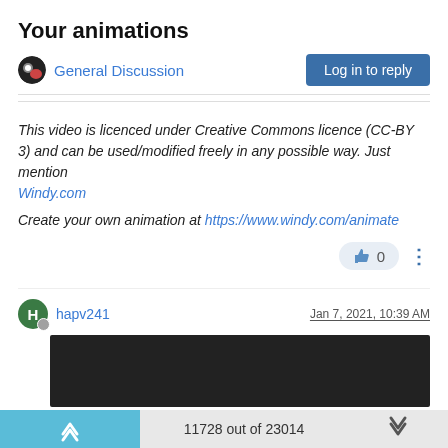Your animations
General Discussion
Log in to reply
This video is licenced under Creative Commons licence (CC-BY 3) and can be used/modified freely in any possible way. Just mention Windy.com
Create your own animation at https://www.windy.com/animate
0
hapv241
Jan 7, 2021, 10:39 AM
[Figure (screenshot): Dark/black video thumbnail area]
11728 out of 23014